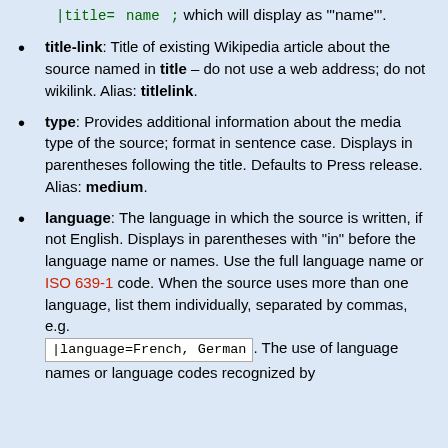|title=&thinsp; name &thinsp;; which will display as "'name'".
title-link: Title of existing Wikipedia article about the source named in title – do not use a web address; do not wikilink. Alias: titlelink.
type: Provides additional information about the media type of the source; format in sentence case. Displays in parentheses following the title. Defaults to Press release. Alias: medium.
language: The language in which the source is written, if not English. Displays in parentheses with "in" before the language name or names. Use the full language name or ISO 639-1 code. When the source uses more than one language, list them individually, separated by commas, e.g. |language=French, German . The use of language names or language codes recognized by